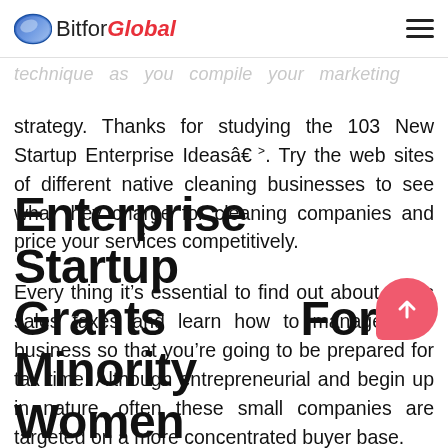BitforGlobal
strategy. Thanks for studying the 103 New Startup Enterprise Ideasâ€. Try the web sites of different native cleaning businesses to see what they charge for cleaning companies and price your services competitively.
Every thing it’s essential to find out about gross sales taxes and learn how to manage your business so that you’re going to be prepared for tax time. Although entrepreneurial and begin up in nature, often these small companies are targeted on a more concentrated buyer base.
Enterprise Startup Grants For Minority Women